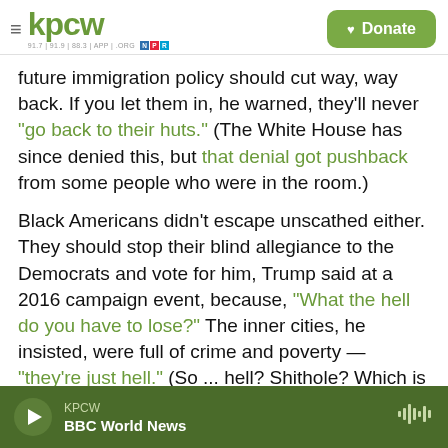KPCW — 91.7 | 91.9 | 88.3 | APP | .ORG — Donate
future immigration policy should cut way, way back. If you let them in, he warned, they'll never "go back to their huts." (The White House has since denied this, but that denial got pushback from some people who were in the room.)
Black Americans didn't escape unscathed either. They should stop their blind allegiance to the Democrats and vote for him, Trump said at a 2016 campaign event, because, "What the hell do you have to lose?" The inner cities, he insisted, were full of crime and poverty — "they're just hell." (So ... hell? Shithole? Which is worse?)
KPCW — BBC World News